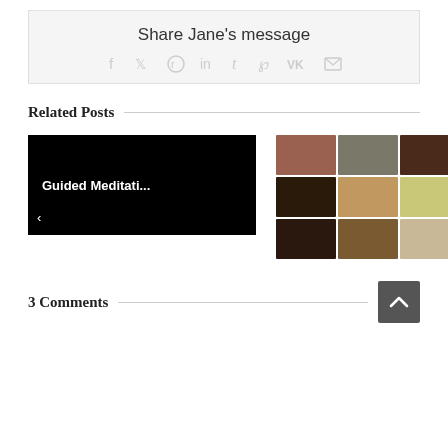Share Jane's message
[Figure (infographic): Social sharing icons: Facebook, Twitter, Reddit, LinkedIn, Tumblr, Pinterest, VK, Email — all in light gray]
Related Posts
[Figure (screenshot): Black rectangle card with white text 'Guided Meditati...' and a left navigation arrow]
[Figure (photo): 3x3 grid of diverse face photos — men and women of various ages and ethnicities, with a right navigation arrow]
3 Comments